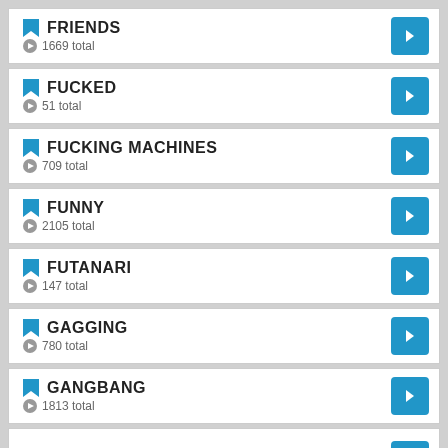FRIENDS — 1669 total
FUCKED — 51 total
FUCKING MACHINES — 709 total
FUNNY — 2105 total
FUTANARI — 147 total
GAGGING — 780 total
GANGBANG — 1813 total
GAY